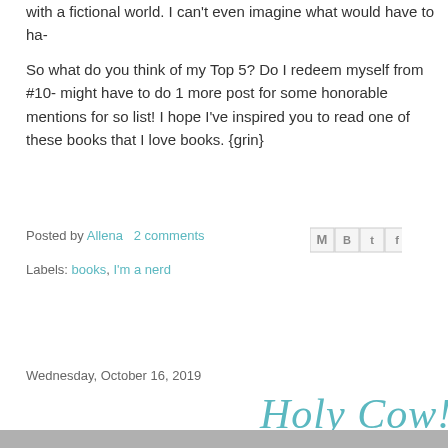with a fictional world. I can't even imagine what would have to ha-
So what do you think of my Top 5? Do I redeem myself from #10- might have to do 1 more post for some honorable mentions for so list! I hope I've inspired you to read one of these books that I love books. {grin}
Posted by Allena   2 comments
Labels: books, I'm a nerd
Wednesday, October 16, 2019
Holy Cow! 15